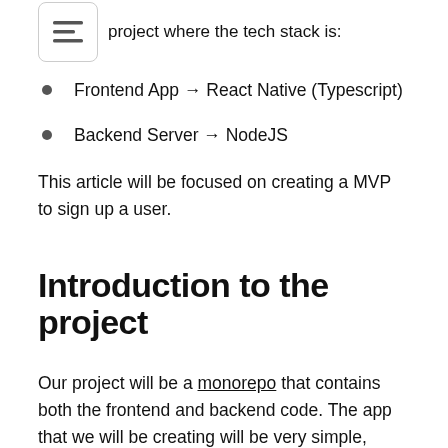password authentication based on Supabase a project where the tech stack is:
Frontend App → React Native (Typescript)
Backend Server → NodeJS
This article will be focused on creating a MVP to sign up a user.
Introduction to the project
Our project will be a monorepo that contains both the frontend and backend code. The app that we will be creating will be very simple, which